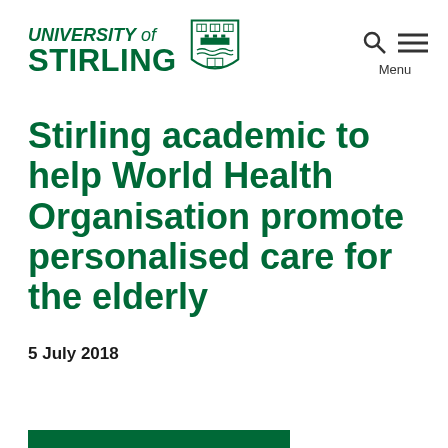UNIVERSITY of STIRLING
[Figure (logo): University of Stirling shield/crest logo]
Stirling academic to help World Health Organisation promote personalised care for the elderly
5 July 2018
[Figure (other): Green decorative bar at bottom of page]